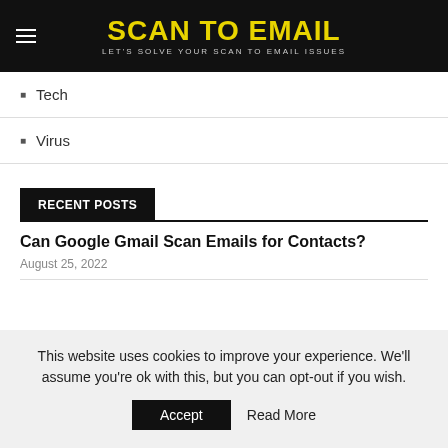SCAN TO EMAIL — LET'S SOLVE YOUR SCAN TO EMAIL ISSUES
Tech
Virus
RECENT POSTS
Can Google Gmail Scan Emails for Contacts?
August 25, 2022
This website uses cookies to improve your experience. We'll assume you're ok with this, but you can opt-out if you wish.